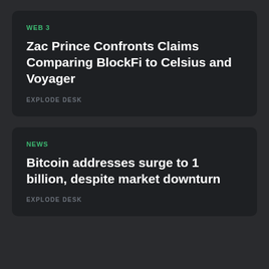WEB 3
Zac Prince Confronts Claims Comparing BlockFi to Celsius and Voyager
EXPLODE DESK
NEWS
Bitcoin addresses surge to 1 billion, despite market downturn
EXPLODE DESK